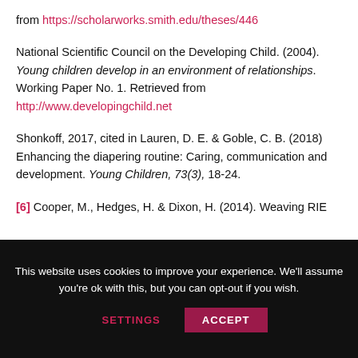from https://scholarworks.smith.edu/theses/446
National Scientific Council on the Developing Child. (2004). Young children develop in an environment of relationships. Working Paper No. 1. Retrieved from http://www.developingchild.net
Shonkoff, 2017, cited in Lauren, D. E. & Goble, C. B. (2018) Enhancing the diapering routine: Caring, communication and development. Young Children, 73(3), 18-24.
[6] Cooper, M., Hedges, H. & Dixon, H. (2014). Weaving RIE
This website uses cookies to improve your experience. We'll assume you're ok with this, but you can opt-out if you wish.